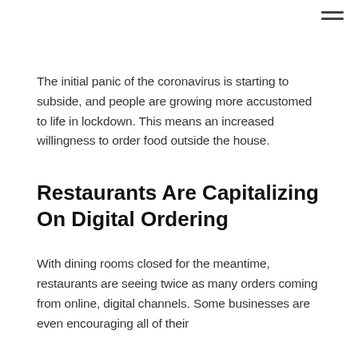[Figure (other): Hamburger menu icon (two horizontal lines) in top-right corner]
The initial panic of the coronavirus is starting to subside, and people are growing more accustomed to life in lockdown. This means an increased willingness to order food outside the house.
Restaurants Are Capitalizing On Digital Ordering
With dining rooms closed for the meantime, restaurants are seeing twice as many orders coming from online, digital channels. Some businesses are even encouraging all of their